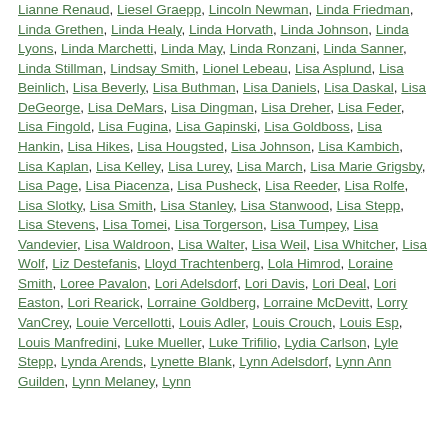Lianne Renaud, Liesel Graepp, Lincoln Newman, Linda Friedman, Linda Grethen, Linda Healy, Linda Horvath, Linda Johnson, Linda Lyons, Linda Marchetti, Linda May, Linda Ronzani, Linda Sanner, Linda Stillman, Lindsay Smith, Lionel Lebeau, Lisa Asplund, Lisa Beinlich, Lisa Beverly, Lisa Buthman, Lisa Daniels, Lisa Daskal, Lisa DeGeorge, Lisa DeMars, Lisa Dingman, Lisa Dreher, Lisa Feder, Lisa Fingold, Lisa Fugina, Lisa Gapinski, Lisa Goldboss, Lisa Hankin, Lisa Hikes, Lisa Hougsted, Lisa Johnson, Lisa Kambich, Lisa Kaplan, Lisa Kelley, Lisa Lurey, Lisa March, Lisa Marie Grigsby, Lisa Page, Lisa Piacenza, Lisa Pusheck, Lisa Reeder, Lisa Rolfe, Lisa Slotky, Lisa Smith, Lisa Stanley, Lisa Stanwood, Lisa Stepp, Lisa Stevens, Lisa Tomei, Lisa Torgerson, Lisa Tumpey, Lisa Vandevier, Lisa Waldroon, Lisa Walter, Lisa Weil, Lisa Whitcher, Lisa Wolf, Liz Destefanis, Lloyd Trachtenberg, Lola Himrod, Loraine Smith, Loree Pavalon, Lori Adelsdorf, Lori Davis, Lori Deal, Lori Easton, Lori Rearick, Lorraine Goldberg, Lorraine McDevitt, Lorry VanCrey, Louie Vercellotti, Louis Adler, Louis Crouch, Louis Esp, Louis Manfredini, Luke Mueller, Luke Trifilio, Lydia Carlson, Lyle Stepp, Lynda Arends, Lynette Blank, Lynn Adelsdorf, Lynn Ann Guilden, Lynn Melaney, Lynn...